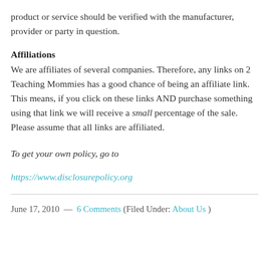product or service should be verified with the manufacturer, provider or party in question.
Affiliations
We are affiliates of several companies. Therefore, any links on 2 Teaching Mommies has a good chance of being an affiliate link. This means, if you click on these links AND purchase something using that link we will receive a small percentage of the sale.  Please assume that all links are affiliated.
To get your own policy, go to
https://www.disclosurepolicy.org
June 17, 2010  —  6 Comments (Filed Under: About Us )